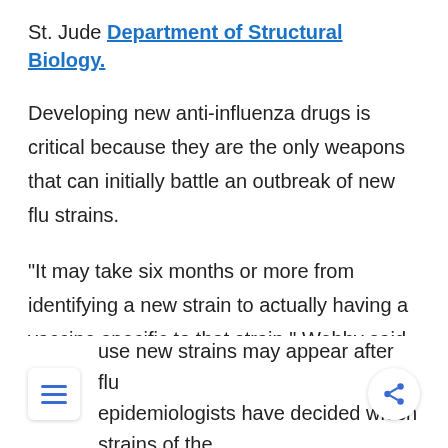St. Jude Department of Structural Biology.
Developing new anti-influenza drugs is critical because they are the only weapons that can initially battle an outbreak of new flu strains.
"It may take six months or more from identifying a new strain to actually having a vaccine specific to that strain," Webby said. "What's more, even a vaccine for the seasonal flu may be only 50 to 75 percent effective." Such an effectiveness gap may arise
use new strains may appear after flu epidemiologists have decided which strains of the virus to target with the vaccine for a given flu